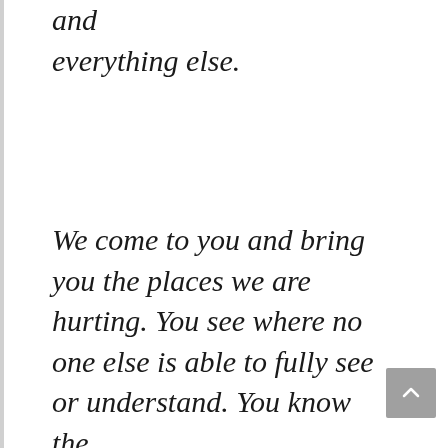and everything else.
We come to you and bring you the places we are hurting. You see where no one else is able to fully see or understand. You know the